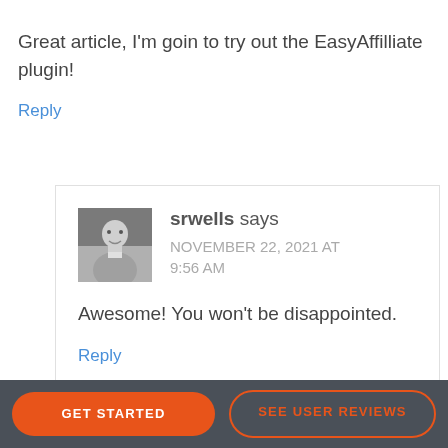Great article, I'm goin to try out the EasyAffilliate plugin!
Reply
srwells says
NOVEMBER 22, 2021 AT 9:56 AM
[Figure (photo): Grayscale headshot photo of a man in a sweater]
Awesome! You won't be disappointed.
Reply
GET STARTED
SEE USER REVIEWS